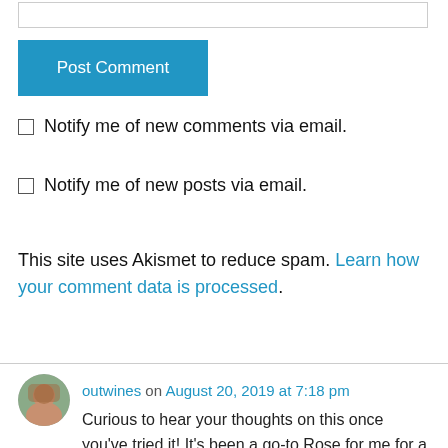[Figure (other): Empty text input box at top of page]
Post Comment
Notify me of new comments via email.
Notify me of new posts via email.
This site uses Akismet to reduce spam. Learn how your comment data is processed.
outwines on August 20, 2019 at 7:18 pm
Curious to hear your thoughts on this once you've tried it! It's been a go-to Rose for me for a couple of summers now.
↳ Reply